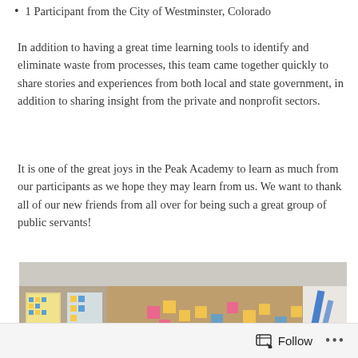1 Participant from the City of Westminster, Colorado
In addition to having a great time learning tools to identify and eliminate waste from processes, this team came together quickly to share stories and experiences from both local and state government, in addition to sharing insight from the private and nonprofit sectors.
It is one of the great joys in the Peak Academy to learn as much from our participants as we hope they may learn from us. We want to thank all of our new friends from all over for being such a great group of public servants!
[Figure (photo): Group of people standing around a cork/bulletin board covered with colorful sticky notes, appearing to be in a workshop or training session. Several participants and a facilitator are interacting with the board. Colorful paper charts are visible on the left wall.]
Follow  •••